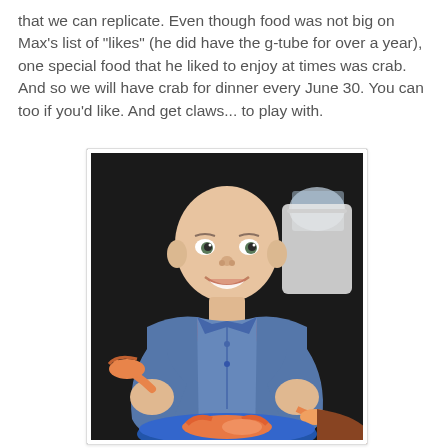that we can replicate. Even though food was not big on Max's list of "likes" (he did have the g-tube for over a year), one special food that he liked to enjoy at times was crab. And so we will have crab for dinner every June 30. You can too if you'd like. And get claws... to play with.
[Figure (photo): A young bald boy smiling at the camera, wearing a denim jacket over a red shirt, holding crab claws in both hands with a blue plate of crab in front of him. The background is dark.]